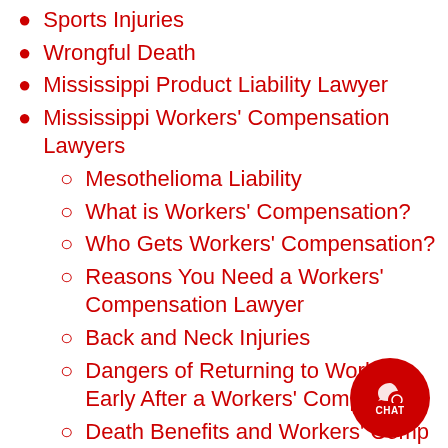Sports Injuries
Wrongful Death
Mississippi Product Liability Lawyer
Mississippi Workers' Compensation Lawyers
Mesothelioma Liability
What is Workers' Compensation?
Who Gets Workers' Compensation?
Reasons You Need a Workers' Compensation Lawyer
Back and Neck Injuries
Dangers of Returning to Work too Early After a Workers' Comp Injury
Death Benefits and Workers' Comp
Drugs and / or Alcohol in the Workplace
Equipment Accidents and Failures